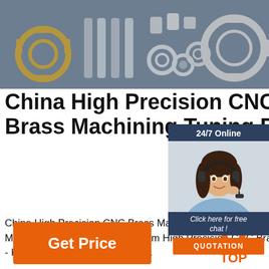[Figure (photo): Header image showing various CNC machined metal parts including gears, screws, bolts, and precision components on a dark gray background]
China High Precision CNC Brass Machining Tuning Parts
[Figure (infographic): 24/7 Online chat widget with photo of female customer service agent wearing headset, 'Click here for free chat!' text, and orange QUOTATION button]
China High Precision CNC Brass Machining Tuning Parts with Good Quality, Find details about Machining Parts, Brass Parts from High Precision CNC Brass Machining Tuning Parts with Good Quality - Kunshan JST Industry Co., Ltd.
[Figure (illustration): Orange Get Price button]
[Figure (illustration): Orange TOP back-to-top button with triangle dots icon]